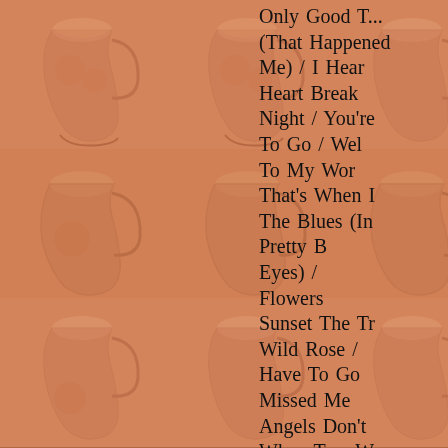[Figure (illustration): Repeating grid of cowboy boots illustrated in muted orange/terracotta tones on an orange background, arranged in a 4x3 grid pattern]
Only Good T... (That Happened Me) / I Hear Heart Break Night / You're To Go / Wel To My Wor That's When The Blues (In Pretty B Eyes) / Flowers Sunset The Tr Wild Rose / Have To Go Missed Me Angels Don't When Two W Collide / Getting Bett Overnight Partners / It's Secret / Di Drums / I'd To Be / Why